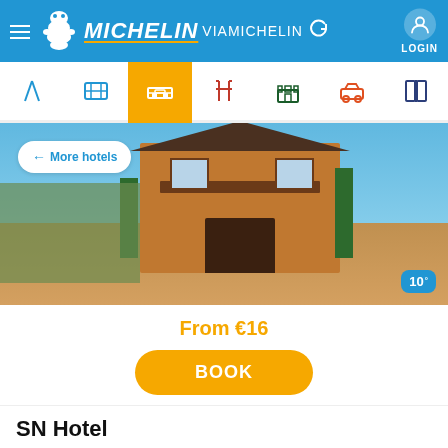[Figure (screenshot): VIAMichelin app header with Michelin logo, VIAMICHELIN text, refresh icon, and LOGIN button]
[Figure (other): Navigation bar with 7 icons: route, map, hotel (active/orange), restaurant, castle, car, guide]
[Figure (photo): Photo of SN Hotel building - orange brick exterior with balcony, trees, blue sky, with 'More hotels' button overlay and weather badge showing 10°]
From €16
BOOK
SN Hotel